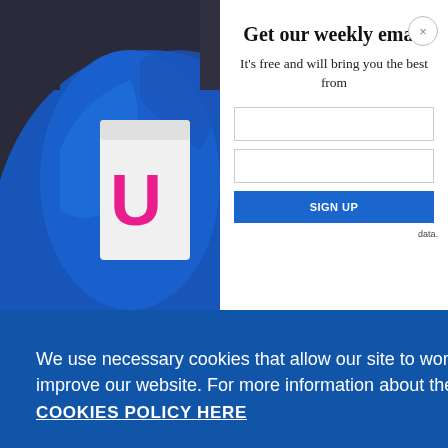[Figure (screenshot): Background photo of person wearing blue jacket/hoodie holding a white item with pink U letter visible]
Get our weekly email
It's free and will bring you the best from
We use necessary cookies that allow our site to work. We also set optional cookies that help us improve our website. For more information about the types of cookies we use. READ OUR COOKIES POLICY HERE
COOKIE SETTINGS
ALLOW ALL COOKIES
data.